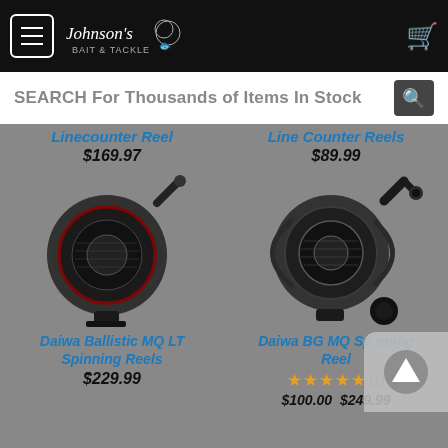Johnson's Bait & Tackle - Navigation bar with hamburger menu, logo, and cart icon
SEARCH For Thousands of Items In Stock
Linecounter Reel $169.97
Line Counter Reels $89.99
[Figure (photo): Daiwa Ballistic MQ LT Spinning Reel product image, dark colored spinning fishing reel]
Daiwa Ballistic MQ LT Spinning Reels $229.99
[Figure (photo): Daiwa BG MQ Spinning Reel product image, dark colored spinning fishing reel]
Daiwa BG MQ Spinning Reel, 4.5 stars (1), $100.00 - $249.99